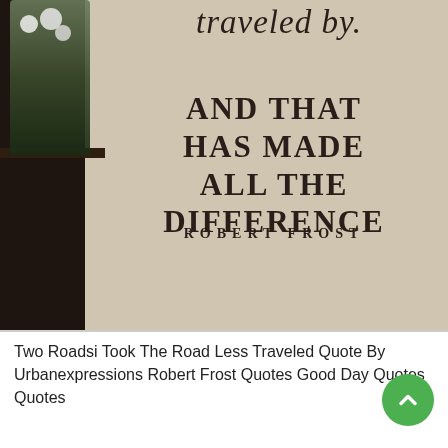[Figure (photo): Photo of a beige wall with a vinyl wall decal quote reading 'traveled by. AND THAT HAS MADE ALL THE DIFFERENCE ROBERT FROST' in decorative script and bold serif fonts. A dark wooden furniture piece with a plant is visible on the left side.]
Two Roadsi Took The Road Less Traveled Quote By Urbanexpressions Robert Frost Quotes Good Day Quotes Quotes